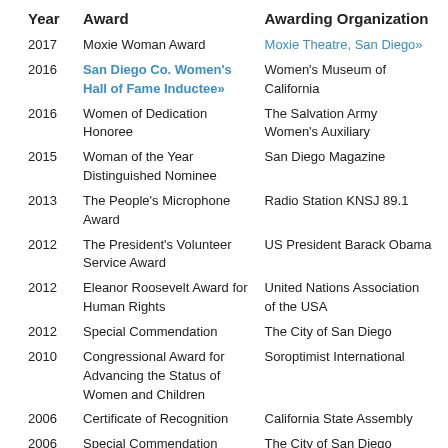| Year | Award | Awarding Organization |
| --- | --- | --- |
| 2017 | Moxie Woman Award | Moxie Theatre, San Diego» |
| 2016 | San Diego Co. Women's Hall of Fame Inductee» | Women's Museum of California |
| 2016 | Women of Dedication Honoree | The Salvation Army Women's Auxiliary |
| 2015 | Woman of the Year Distinguished Nominee | San Diego Magazine |
| 2013 | The People's Microphone Award | Radio Station KNSJ 89.1 |
| 2012 | The President's Volunteer Service Award | US President Barack Obama |
| 2012 | Eleanor Roosevelt Award for Human Rights | United Nations Association of the USA |
| 2012 | Special Commendation | The City of San Diego |
| 2010 | Congressional Award for Advancing the Status of Women and Children | Soroptimist International |
| 2006 | Certificate of Recognition | California State Assembly |
| 2006 | Special Commendation | The City of San Diego |
| 2003 | Public Health Champion Award | County of San Diego Health and Human Services |